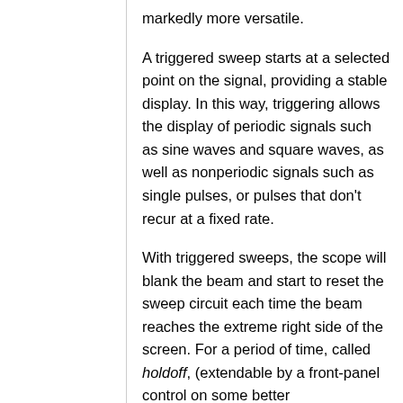markedly more versatile.
A triggered sweep starts at a selected point on the signal, providing a stable display. In this way, triggering allows the display of periodic signals such as sine waves and square waves, as well as nonperiodic signals such as single pulses, or pulses that don't recur at a fixed rate.
With triggered sweeps, the scope will blank the beam and start to reset the sweep circuit each time the beam reaches the extreme right side of the screen. For a period of time, called holdoff, (extendable by a front-panel control on some better oscilloscopes), the sweep circuit resets completely and ignores triggers. Once holdoff expires, the next trigger starts a sweep. The trigger event is usually